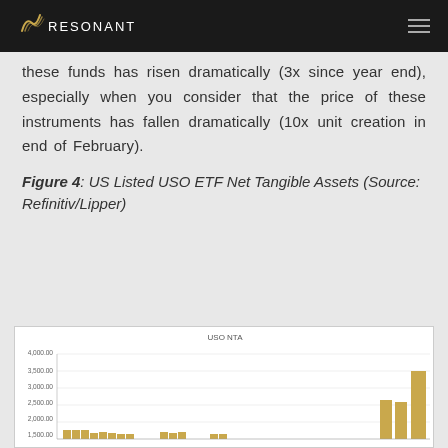RESONANT
these funds has risen dramatically (3x since year end), especially when you consider that the price of these instruments has fallen dramatically (10x unit creation in end of February).
Figure 4: US Listed USO ETF Net Tangible Assets (Source: Refinitiv/Lipper)
[Figure (bar-chart): Bar chart showing USO NTA values over time. Y-axis ranges from approximately 1,000 to 4,000. Bars show various heights with a large spike at the right end reaching approximately 3,500.]